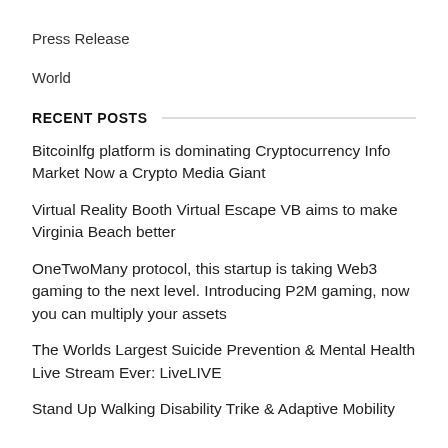Press Release
World
RECENT POSTS
Bitcoinlfg platform is dominating Cryptocurrency Info Market Now a Crypto Media Giant
Virtual Reality Booth Virtual Escape VB aims to make Virginia Beach better
OneTwoMany protocol, this startup is taking Web3 gaming to the next level. Introducing P2M gaming, now you can multiply your assets
The Worlds Largest Suicide Prevention & Mental Health Live Stream Ever: LiveLIVE
Stand Up Walking Disability Trike & Adaptive Mobility